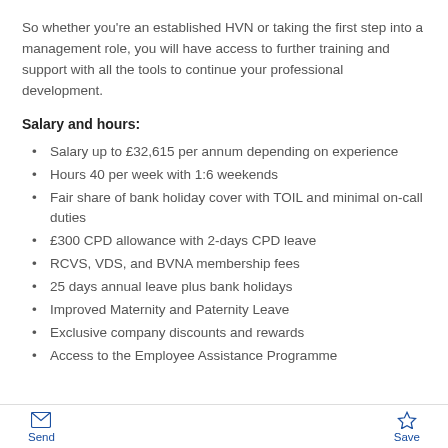So whether you're an established HVN or taking the first step into a management role, you will have access to further training and support with all the tools to continue your professional development.
Salary and hours:
Salary up to £32,615 per annum depending on experience
Hours 40 per week with 1:6 weekends
Fair share of bank holiday cover with TOIL and minimal on-call duties
£300 CPD allowance with 2-days CPD leave
RCVS, VDS, and BVNA membership fees
25 days annual leave plus bank holidays
Improved Maternity and Paternity Leave
Exclusive company discounts and rewards
Access to the Employee Assistance Programme
Send | Save